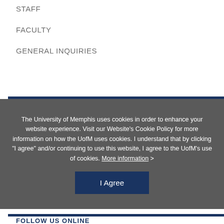STAFF
FACULTY
GENERAL INQUIRIES
The University of Memphis uses cookies in order to enhance your website experience. Visit our Website’s Cookie Policy for more information on how the UofM uses cookies. I understand that by clicking “I agree” and/or continuing to use this website, I agree to the UofM’s use of cookies. More information >
I Agree
FOLLOW US ONLINE